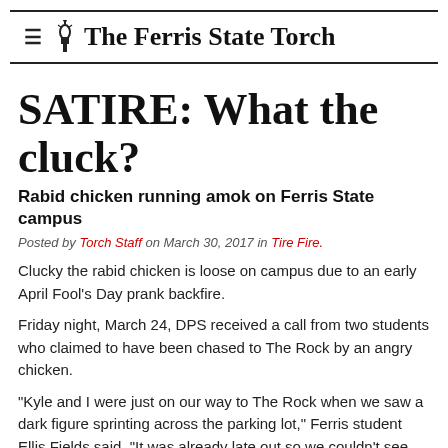≡  The Ferris State Torch
SATIRE: What the cluck?
Rabid chicken running amok on Ferris State campus
Posted by Torch Staff on March 30, 2017 in Tire Fire.
Clucky the rabid chicken is loose on campus due to an early April Fool's Day prank backfire.
Friday night, March 24, DPS received a call from two students who claimed to have been chased to The Rock by an angry chicken.
"Kyle and I were just on our way to The Rock when we saw a dark figure sprinting across the parking lot," Ferris student Ellis Fields said. "It was already late out so we couldn't see very well. I didn't know it was a chicken 'till it was charging towards Kyle."